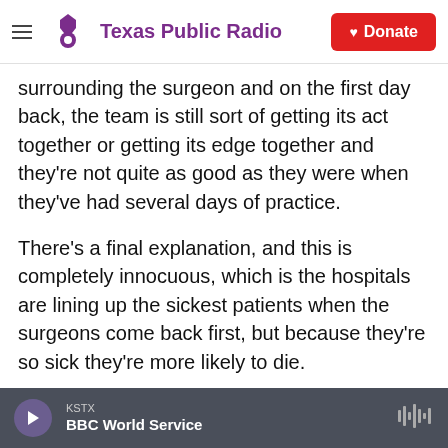Texas Public Radio | Donate
surrounding the surgeon and on the first day back, the team is still sort of getting its act together or getting its edge together and they're not quite as good as they were when they've had several days of practice.
There's a final explanation, and this is completely innocuous, which is the hospitals are lining up the sickest patients when the surgeons come back first, but because they're so sick they're more likely to die.
INSKEEP: OK. So whatever the explanation,
KSTX  BBC World Service